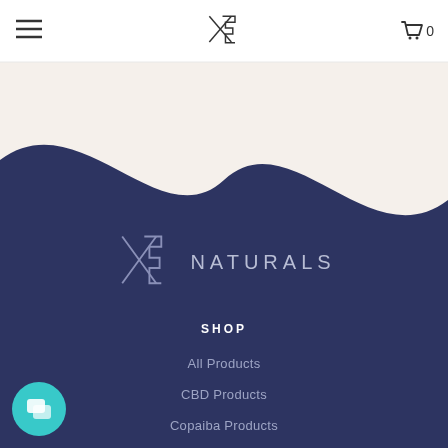[Figure (logo): X5 Naturals logo in header, dark lines on white background]
[Figure (illustration): Wave shape dividing cream/white upper area from dark navy lower area]
[Figure (logo): X5 Naturals logo in white/light color on dark navy background with text NATURALS]
SHOP
All Products
CBD Products
Copaiba Products